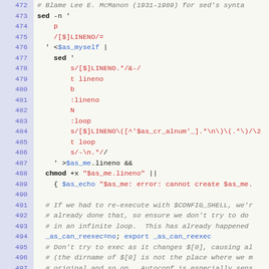[Figure (screenshot): Source code viewer showing shell script lines 472-502 with syntax highlighting. Line numbers in blue-purple on left gutter, keywords bold, string/variable content in red/blue.]